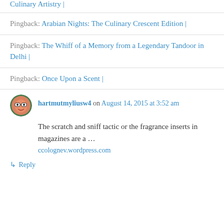Culinary Artistry |
Pingback: Arabian Nights: The Culinary Crescent Edition |
Pingback: The Whiff of a Memory from a Legendary Tandoor in Delhi |
Pingback: Once Upon a Scent |
hartmutmyliusw4 on August 14, 2015 at 3:52 am
The scratch and sniff tactic or the fragrance inserts in magazines are a …
ccolognev.wordpress.com
↳ Reply